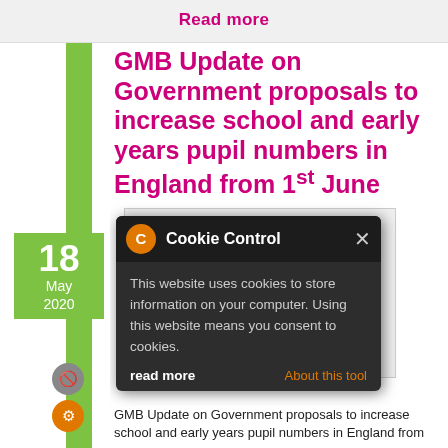Read more
GMB Update on Government proposals to increase school and early years pupil numbers in England from 1st June
[Figure (screenshot): Screenshot of a GMB document/letter partially visible behind a Cookie Control modal dialog. The document shows a stamp reading 'June is wholly unrealistic' and a blue button. The Cookie Control modal has a dark background and reads: 'This website uses cookies to store information on your computer. Using this website means you consent to cookies.' with a 'read more' link and 'About this tool' link.]
GMB Update on Government proposals to increase school and early years pupil numbers in England from